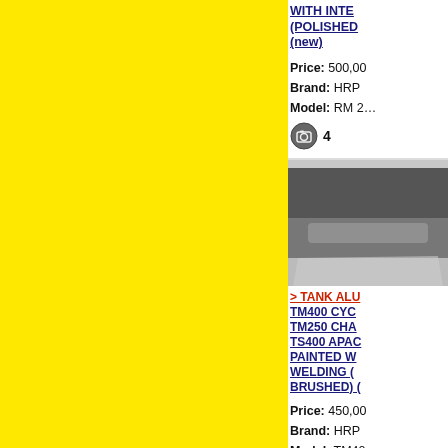[Figure (photo): Yellow panel on the left side of the page, gray center area]
WITH INTE... (POLISHED ...) (new)
Price: 500,00
Brand: HRP
Model: RM 2...
[Figure (photo): Photo of a metal fuel tank, partially visible on the right]
> TANK ALU... TM400 CYC... TM250 CHA... TS400 APAC... PAINTED W... WELDING (... BRUSHED) (...
Price: 450,00
Brand: HRP
Model: TM40...